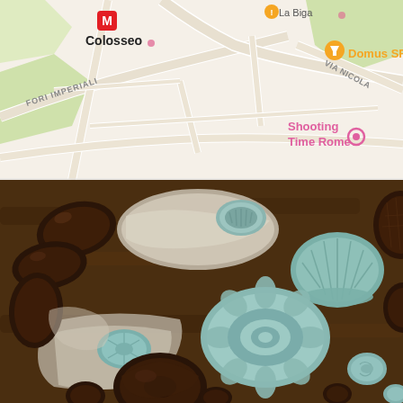[Figure (map): Street map showing area near Colosseo metro station in Rome, Italy. Landmarks labeled include: Colosseo (metro M icon), La Biga, Domus SRL (with filter icon), Shooting Time Rome (pink pin). Streets visible: Fori Imperiali, Via Nicola.]
[Figure (photo): Overhead food photography showing dark chocolate molded pastries/chocolates alongside light blue/mint ceramic baking molds in various shapes (shell, flower/bundt, round) scattered on a wooden surface with white linen cloth.]